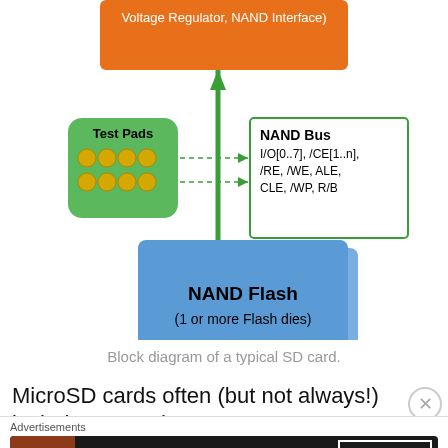[Figure (engineering-diagram): Block diagram of a typical SD card showing: orange rectangle at top labeled 'Voltage Regulator, NAND Interface)', green Test Pads block with gold dots connected by dashed arrows to NAND Bus box (I/O[0..7], /CE[1..n], /RE, /WE, ALE, CLE, /WP, R/B), vertical double-headed green arrow connecting to blue NAND Flash block (1 or more Flash dies). Copyright 2020 Jason Gin. https://ripitapart.com]
Block diagram of a typical SD card.
MicroSD cards often (but not always!) include test pads,